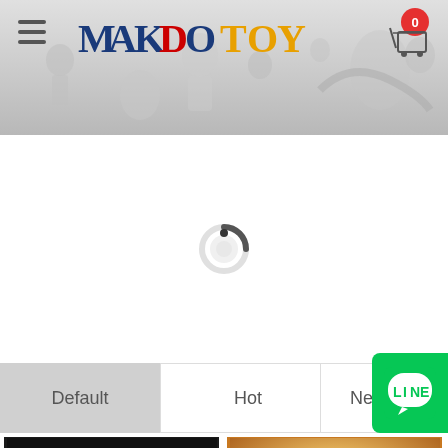[Figure (screenshot): Website header banner for MAKDO TOY with manga/anime character illustrations in grayscale. Site title MAKDO TOY in large stylized font. Shopping cart icon with badge showing 0 in top right corner.]
[Figure (other): Loading spinner - circular grey loading indicator on white background]
[Figure (other): Tab navigation bar with four tabs: Default (active, grey background), Hot, New, Price. LINE messaging app green button on the right side.]
[Figure (screenshot): Product thumbnails row: left product shows CAUTION warning sign on black background, right product shows red/orange mechanical part on golden background. Scroll-to-top arrow button in bottom right.]